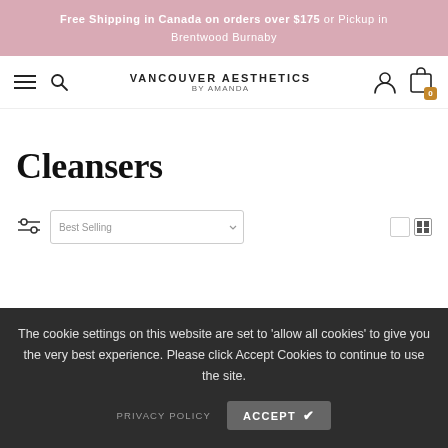Free Shipping in Canada on orders over $175 or Pickup in Brentwood Burnaby
[Figure (screenshot): Navigation bar with hamburger menu, search icon, Vancouver Aesthetics By Amanda logo, user icon, and shopping cart icon with badge showing 0]
Cleansers
The cookie settings on this website are set to 'allow all cookies' to give you the very best experience. Please click Accept Cookies to continue to use the site.
PRIVACY POLICY   ACCEPT ✔